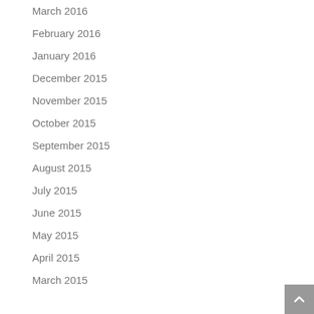March 2016
February 2016
January 2016
December 2015
November 2015
October 2015
September 2015
August 2015
July 2015
June 2015
May 2015
April 2015
March 2015